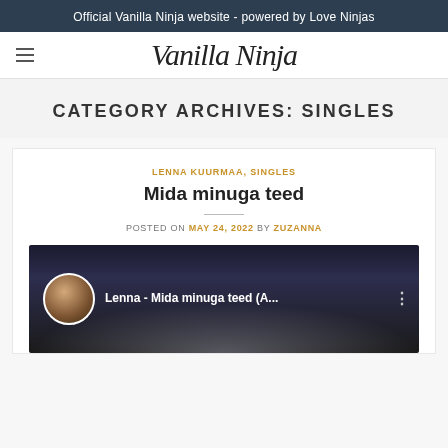Official Vanilla Ninja website - powered by Love Ninjas
[Figure (logo): Vanilla Ninja cursive logo]
CATEGORY ARCHIVES: SINGLES
LENNA KUURMAA, SINGLES
Mida minuga teed
POSTED ON MAY 24, 2022 BY ZUZANNA
[Figure (screenshot): YouTube video thumbnail for Lenna - Mida minuga teed (A...)]